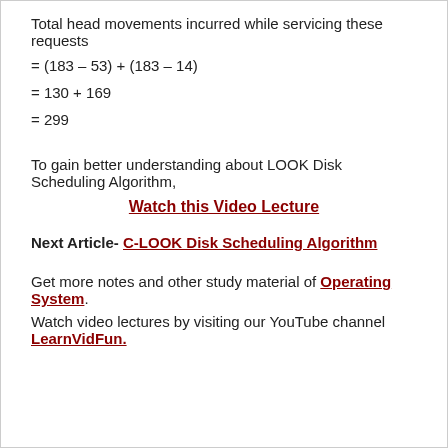Total head movements incurred while servicing these requests
To gain better understanding about LOOK Disk Scheduling Algorithm,
Watch this Video Lecture
Next Article- C-LOOK Disk Scheduling Algorithm
Get more notes and other study material of Operating System.
Watch video lectures by visiting our YouTube channel LearnVidFun.